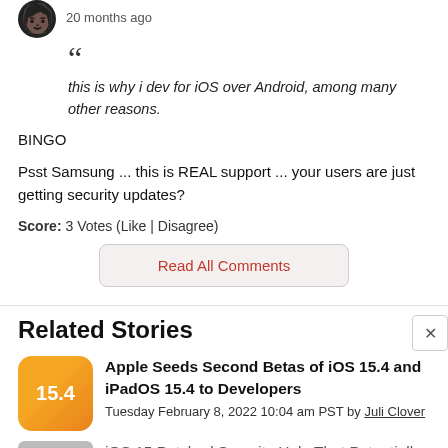20 months ago
this is why i dev for iOS over Android, among many other reasons.
BINGO
Psst Samsung ... this is REAL support ... your users are just getting security updates?
Score: 3 Votes (Like | Disagree)
Read All Comments
Related Stories
Apple Seeds Second Betas of iOS 15.4 and iPadOS 15.4 to Developers
Tuesday February 8, 2022 10:04 am PST by Juli Clover
iOS 15 Patched Security Hole That Potentially Exposed Users' Private Apple ID Information to Thir...